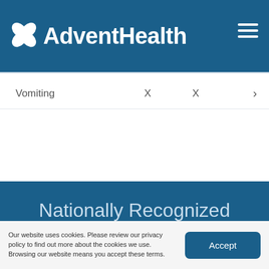[Figure (logo): AdventHealth logo with four-petal flower icon on dark blue header bar with hamburger menu]
| Symptom |  |  |  |
| --- | --- | --- | --- |
| Vomiting | X | X | › |
Nationally Recognized Expertise
Our website uses cookies. Please review our privacy policy to find out more about the cookies we use. Browsing our website means you accept these terms.